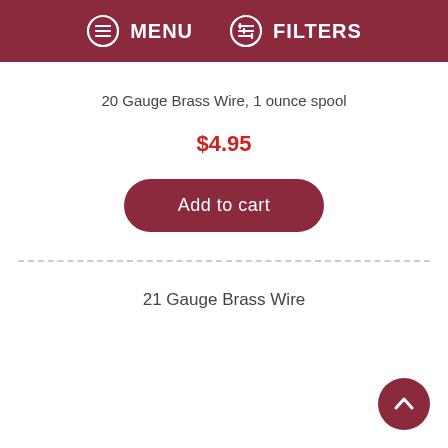MENU  FILTERS
20 Gauge Brass Wire, 1 ounce spool
$4.95
Add to cart
21 Gauge Brass Wire